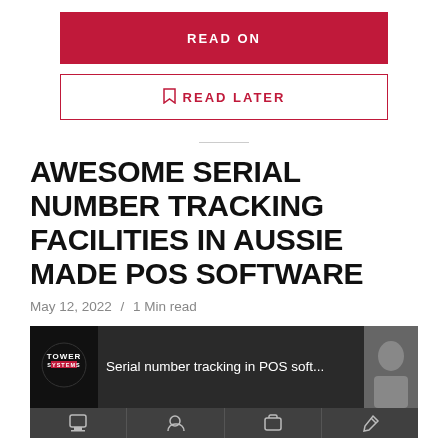[Figure (screenshot): Red 'READ ON' button]
[Figure (screenshot): White outlined 'READ LATER' button with bookmark icon]
AWESOME SERIAL NUMBER TRACKING FACILITIES IN AUSSIE MADE POS SOFTWARE
May 12, 2022  /  1 Min read
[Figure (screenshot): Video thumbnail showing Tower Systems logo and 'Serial number tracking in POS soft...' text with a person visible on the right, and icon bar at bottom]